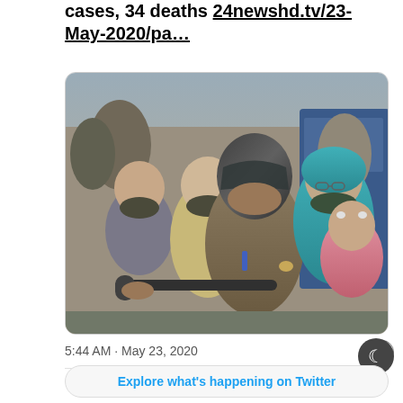cases, 34 deaths 24newshd.tv/23-May-2020/pa…
[Figure (photo): A family of multiple people riding a motorcycle together in a crowded street, most wearing face masks. The rider in the center wears a full helmet. Others wear cloth masks. A woman in a teal hijab is visible on the right holding a child in a pink jacket.]
5:44 AM · May 23, 2020
5   See the latest COVID-19 information on…
Explore what's happening on Twitter